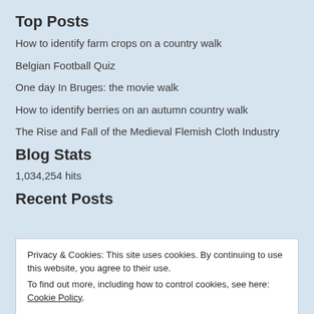Top Posts
How to identify farm crops on a country walk
Belgian Football Quiz
One day In Bruges: the movie walk
How to identify berries on an autumn country walk
The Rise and Fall of the Medieval Flemish Cloth Industry
Blog Stats
1,034,254 hits
Recent Posts
Privacy & Cookies: This site uses cookies. By continuing to use this website, you agree to their use.
To find out more, including how to control cookies, see here: Cookie Policy
Close and accept
Giant hogweed – and why to avoid it!